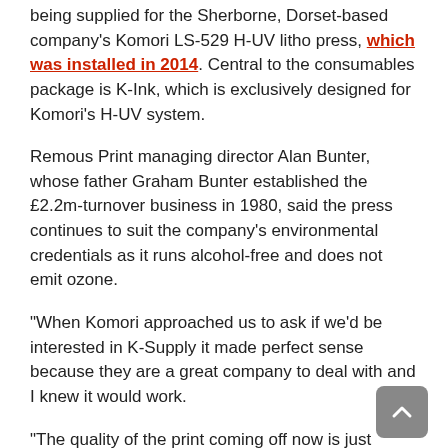being supplied for the Sherborne, Dorset-based company's Komori LS-529 H-UV litho press, which was installed in 2014. Central to the consumables package is K-Ink, which is exclusively designed for Komori's H-UV system.
Remous Print managing director Alan Bunter, whose father Graham Bunter established the £2.2m-turnover business in 1980, said the press continues to suit the company's environmental credentials as it runs alcohol-free and does not emit ozone.
“When Komori approached us to ask if we’d be interested in K-Supply it made perfect sense because they are a great company to deal with and I knew it would work.
“The quality of the print coming off now is just fantastic, it’s second to none. The ink goes a lot further, there’s no issues with scumming, and it works well with the processless plates. It really brings colours to life and even heavy black is really vibrant, which surpasses our expectations.
“Our press minders think it’s great because everything is perfect every time. Makeready times are less and there are no challenges